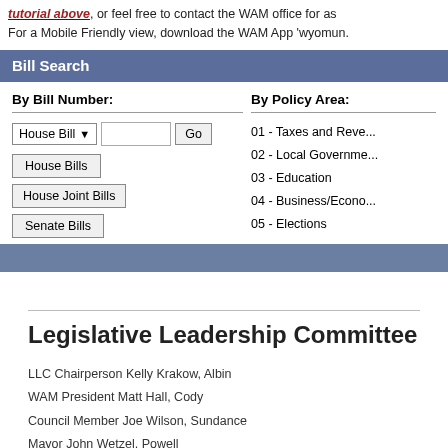tutorial above, or feel free to contact the WAM office for as. For a Mobile Friendly view, download the WAM App 'wyomun.
Bill Search
By Bill Number:
By Policy Area:
House Bill | [text input] Go
House Bills
House Joint Bills
Senate Bills
01 - Taxes and Reve...
02 - Local Governme...
03 - Education
04 - Business/Econo...
05 - Elections
Legislative Leadership Committee
LLC Chairperson Kelly Krakow, Albin
WAM President Matt Hall, Cody
Council Member Joe Wilson, Sundance
Mayor John Wetzel, Powell